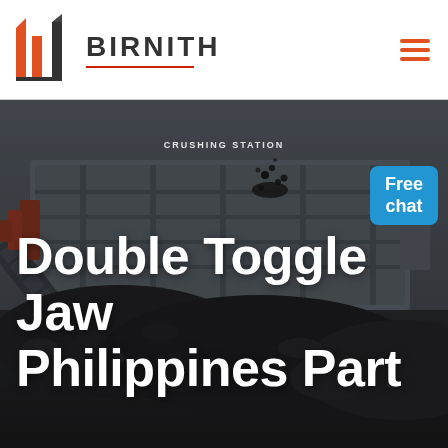BIRNITH
[Figure (photo): Industrial jaw crusher / crushing station machine with conveyor belt, surrounded by piles of crushed rocks/coal, dark moody industrial photography]
Double Toggle Jaw Philippines Part